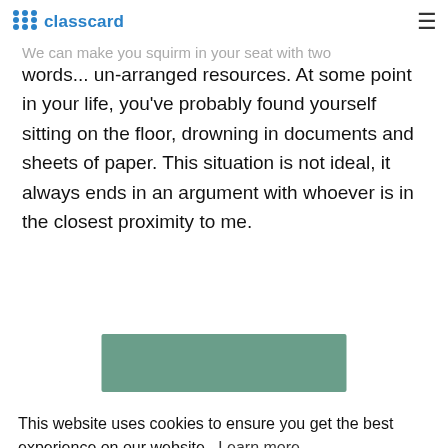classcard
We can make you squirm in your seat with two words... un-arranged resources. At some point in your life, you've probably found yourself sitting on the floor, drowning in documents and sheets of paper. This situation is not ideal, it always ends in an argument with whoever is in the closest proximity to me.
[Figure (photo): Green/teal colored rectangular image block, partially visible]
This website uses cookies to ensure you get the best experience on our website.  Learn more
🛒 Got it!